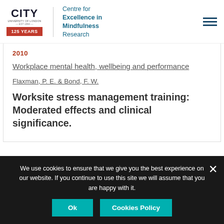City University of London — Centre for Excellence in Mindfulness Research
2010
Workplace mental health, wellbeing and performance
Flaxman, P. E. & Bond, F. W.
Worksite stress management training: Moderated effects and clinical significance.
We use cookies to ensure that we give you the best experience on our website. If you continue to use this site we will assume that you are happy with it.